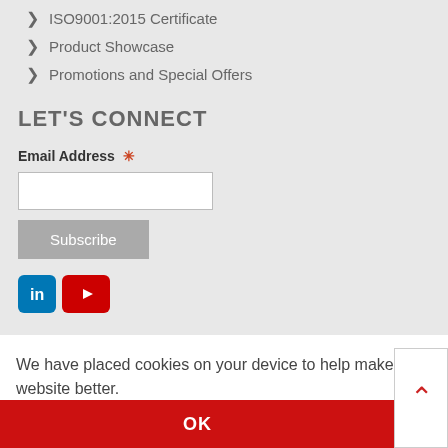ISO9001:2015 Certificate
Product Showcase
Promotions and Special Offers
LET'S CONNECT
Email Address *
Subscribe
[Figure (logo): LinkedIn and YouTube social media icons]
We have placed cookies on your device to help make this website better.
OK